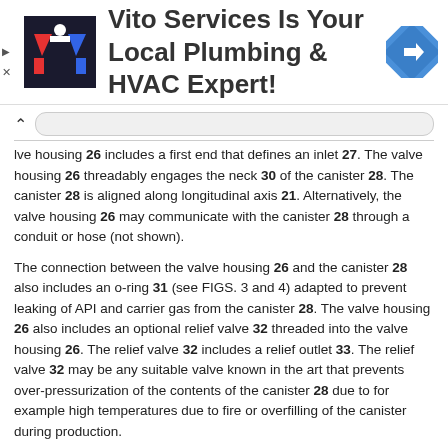[Figure (infographic): Advertisement banner for Vito Services Plumbing & HVAC with logo and navigation icon]
lve housing 26 includes a first end that defines an inlet 27. The valve housing 26 threadably engages the neck 30 of the canister 28. The canister 28 is aligned along longitudinal axis 21. Alternatively, the valve housing 26 may communicate with the canister 28 through a conduit or hose (not shown).
The connection between the valve housing 26 and the canister 28 also includes an o-ring 31 (see FIGS. 3 and 4) adapted to prevent leaking of API and carrier gas from the canister 28. The valve housing 26 also includes an optional relief valve 32 threaded into the valve housing 26. The relief valve 32 includes a relief outlet 33. The relief valve 32 may be any suitable valve known in the art that prevents over-pressurization of the contents of the canister 28 due to for example high temperatures due to fire or overfilling of the canister during production.
As shown in FIG. 2, the indexing features that correspond to the identity and/or dosing concentration of the API may be provided by one or more of different axial width, axial juxtaposition, different cross-sectional shape, and the like of the lugs from 10/20 and 20/30).